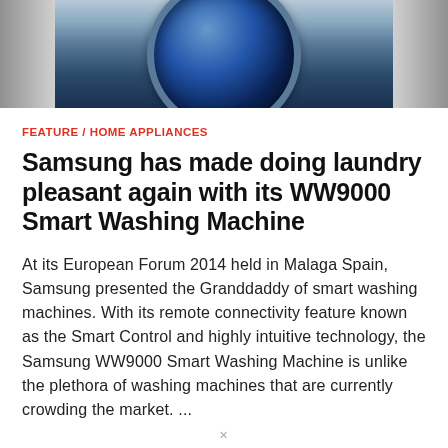[Figure (photo): Close-up photo of a washing machine drum, showing a blue circular drum door with metallic chrome surround and side panels]
FEATURE / HOME APPLIANCES
Samsung has made doing laundry pleasant again with its WW9000 Smart Washing Machine
At its European Forum 2014 held in Malaga Spain, Samsung presented the Granddaddy of smart washing machines. With its remote connectivity feature known as the Smart Control and highly intuitive technology, the Samsung WW9000 Smart Washing Machine is unlike the plethora of washing machines that are currently crowding the market. ...